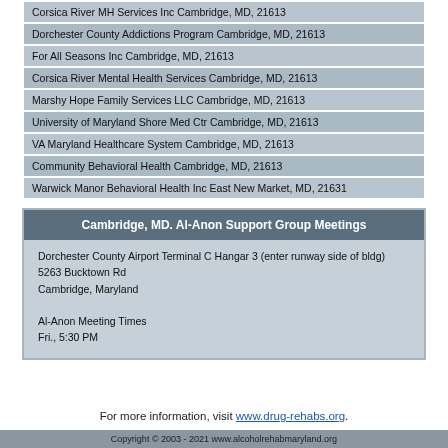Corsica River MH Services Inc Cambridge, MD, 21613
Dorchester County Addictions Program Cambridge, MD, 21613
For All Seasons Inc Cambridge, MD, 21613
Corsica River Mental Health Services Cambridge, MD, 21613
Marshy Hope Family Services LLC Cambridge, MD, 21613
University of Maryland Shore Med Ctr Cambridge, MD, 21613
VA Maryland Healthcare System Cambridge, MD, 21613
Community Behavioral Health Cambridge, MD, 21613
Warwick Manor Behavioral Health Inc East New Market, MD, 21631
Cambridge, MD. Al-Anon Support Group Meetings
Dorchester County Airport Terminal C Hangar 3 (enter runway side of bldg)
5263 Bucktown Rd
Cambridge, Maryland

Al-Anon Meeting Times
Fri., 5:30 PM
For more information, visit www.drug-rehabs.org.
Copyright © 2003 - 2021 www.alcoholrehabmaryland.org